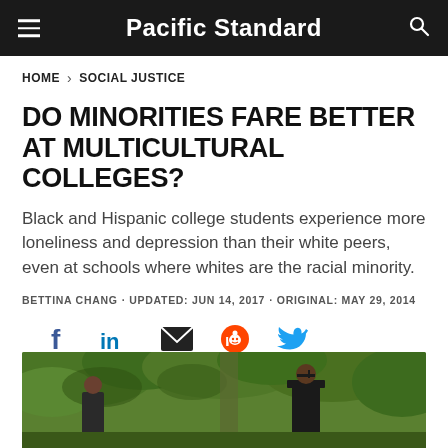Pacific Standard
HOME > SOCIAL JUSTICE
DO MINORITIES FARE BETTER AT MULTICULTURAL COLLEGES?
Black and Hispanic college students experience more loneliness and depression than their white peers, even at schools where whites are the racial minority.
BETTINA CHANG · UPDATED: JUN 14, 2017 · ORIGINAL: MAY 29, 2014
[Figure (infographic): Social media share icons: Facebook, LinkedIn, Email, Reddit, Twitter]
[Figure (photo): A graduate in cap and gown standing outdoors among green trees at a graduation ceremony]